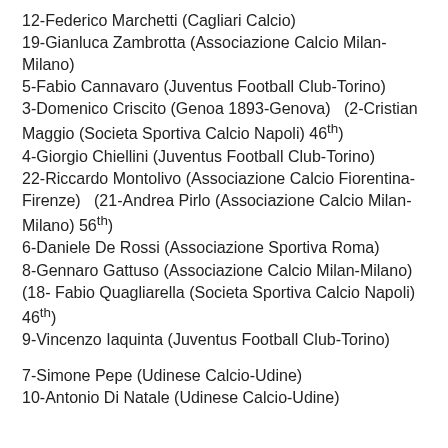12-Federico Marchetti (Cagliari Calcio)
19-Gianluca Zambrotta (Associazione Calcio Milan-Milano)
5-Fabio Cannavaro (Juventus Football Club-Torino)
3-Domenico Criscito (Genoa 1893-Genova)   (2-Cristian Maggio (Societa Sportiva Calcio Napoli) 46th)
4-Giorgio Chiellini (Juventus Football Club-Torino)
22-Riccardo Montolivo (Associazione Calcio Fiorentina-Firenze)   (21-Andrea Pirlo (Associazione Calcio Milan-Milano) 56th)
6-Daniele De Rossi (Associazione Sportiva Roma)
8-Gennaro Gattuso (Associazione Calcio Milan-Milano) (18- Fabio Quagliarella (Societa Sportiva Calcio Napoli) 46th)
9-Vincenzo Iaquinta (Juventus Football Club-Torino)
7-Simone Pepe (Udinese Calcio-Udine)
10-Antonio Di Natale (Udinese Calcio-Udine)